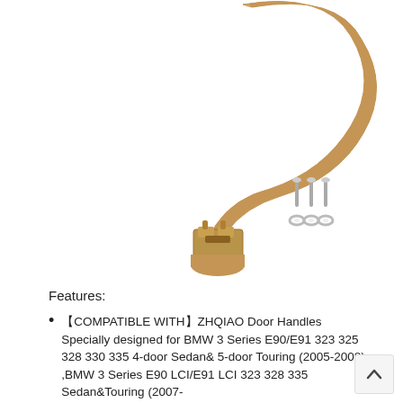[Figure (photo): A beige/tan colored BMW door handle with metal bracket attachment mechanism at the bottom, accompanied by several small silver screws and washers arranged to the right of the handle, on a white background.]
Features:
【COMPATIBLE WITH】ZHQIAO Door Handles Specially designed for BMW 3 Series E90/E91 323 325 328 330 335 4-door Sedan& 5-door Touring (2005-2008) ,BMW 3 Series E90 LCI/E91 LCI 323 328 335 Sedan&Touring (2007-